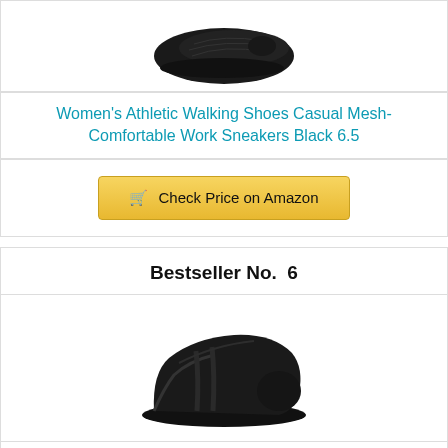[Figure (photo): Black athletic mesh walking shoe, top view, shown floating against white background]
Women's Athletic Walking Shoes Casual Mesh-Comfortable Work Sneakers Black 6.5
Check Price on Amazon
Bestseller No. 6
[Figure (photo): Black slip-on work shoe (Skechers style) shown at angle against white background]
Skechers womens Nampa-annod Food Service